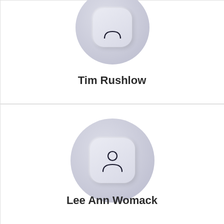[Figure (illustration): Profile avatar icon (person silhouette - top half cropped) inside a rounded square, placed on a circular background, for user Tim Rushlow]
Tim Rushlow
[Figure (illustration): Profile avatar icon (person silhouette with head and shoulders) inside a rounded square, placed on a circular background, for user Lee Ann Womack]
Lee Ann Womack